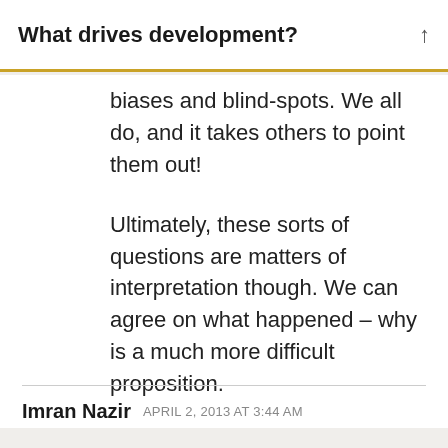What drives development?
biases and blind-spots. We all do, and it takes others to point them out!
Ultimately, these sorts of questions are matters of interpretation though. We can agree on what happened – why is a much more difficult proposition.
Imran Nazir  APRIL 2, 2013 AT 3:44 AM